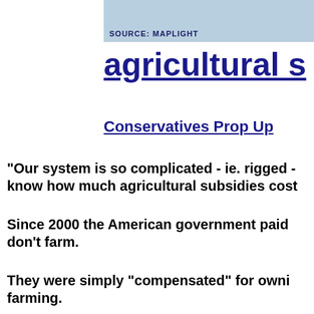SOURCE: MAPLIGHT
agricultural s
Conservatives Prop Up
"Our system is so complicated - ie. rigged - know how much agricultural subsi… cost
Since 2000 the American government paid don't farm.
They were simply "compensated" for owni… farming.